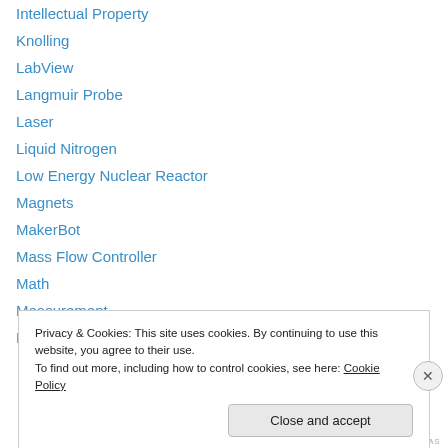Intellectual Property
Knolling
LabView
Langmuir Probe
Laser
Liquid Nitrogen
Low Energy Nuclear Reactor
Magnets
MakerBot
Mass Flow Controller
Math
Measurement
Mechanical engineering
Privacy & Cookies: This site uses cookies. By continuing to use this website, you agree to their use.
To find out more, including how to control cookies, see here: Cookie Policy
REDIRECT.AS